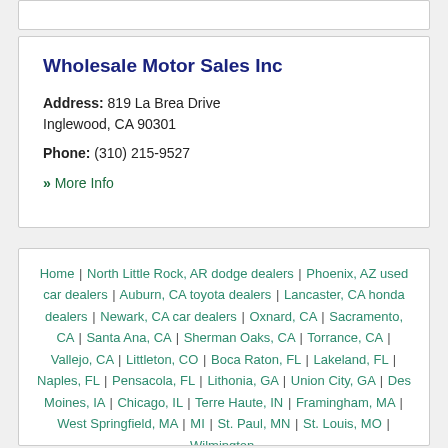Wholesale Motor Sales Inc
Address: 819 La Brea Drive Inglewood, CA 90301
Phone: (310) 215-9527
» More Info
Home | North Little Rock, AR dodge dealers | Phoenix, AZ used car dealers | Auburn, CA toyota dealers | Lancaster, CA honda dealers | Newark, CA car dealers | Oxnard, CA | Sacramento, CA | Santa Ana, CA | Sherman Oaks, CA | Torrance, CA | Vallejo, CA | Littleton, CO | Boca Raton, FL | Lakeland, FL | Naples, FL | Pensacola, FL | Lithonia, GA | Union City, GA | Des Moines, IA | Chicago, IL | Terre Haute, IN | Framingham, MA | West Springfield, MA | MI | St. Paul, MN | St. Louis, MO | Wilmington,